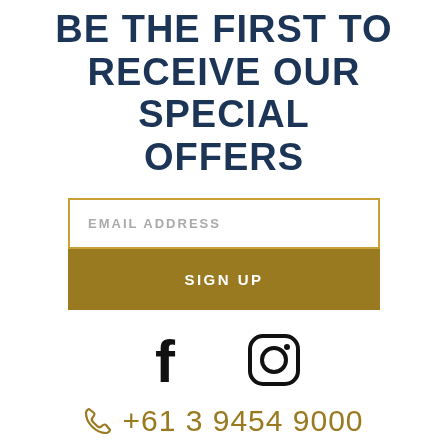BE THE FIRST TO RECEIVE OUR SPECIAL OFFERS
EMAIL ADDRESS
SIGN UP
[Figure (other): Facebook icon (f) and Instagram icon side by side]
+61 3 9454 9000